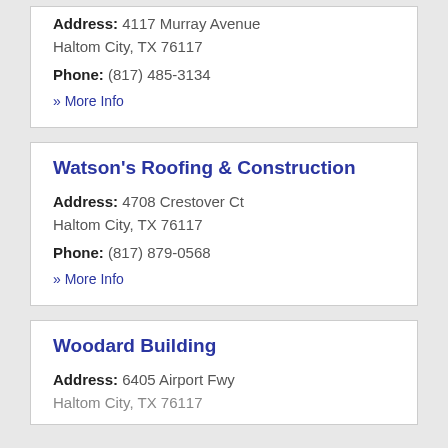Address: 4117 Murray Avenue Haltom City, TX 76117
Phone: (817) 485-3134
» More Info
Watson's Roofing & Construction
Address: 4708 Crestover Ct Haltom City, TX 76117
Phone: (817) 879-0568
» More Info
Woodard Building
Address: 6405 Airport Fwy Haltom City, TX 76117